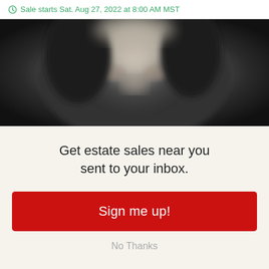Sale starts Sat. Aug 27, 2022 at 8:00 AM MST
[Figure (photo): Blurred black and white close-up photograph of an elderly person's face]
Get estate sales near you sent to your inbox.
Sign me up!
No Thanks